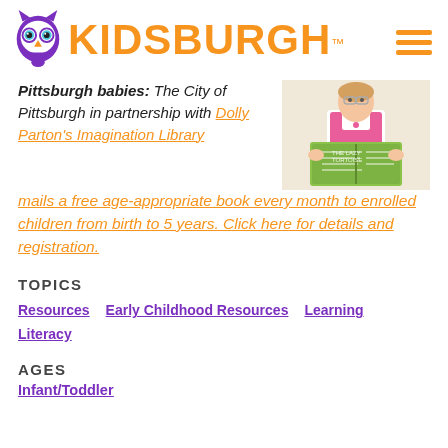[Figure (logo): Kidsburgh logo with purple owl mascot and orange KIDSBURGH text with TM symbol]
Pittsburgh babies: The City of Pittsburgh in partnership with Dolly Parton's Imagination Library mails a free age-appropriate book every month to enrolled children from birth to 5 years. Click here for details and registration.
[Figure (photo): Young girl in pink vest reading a colorful picture book]
TOPICS
Resources
Early Childhood Resources
Learning
Literacy
AGES
Infant/Toddler